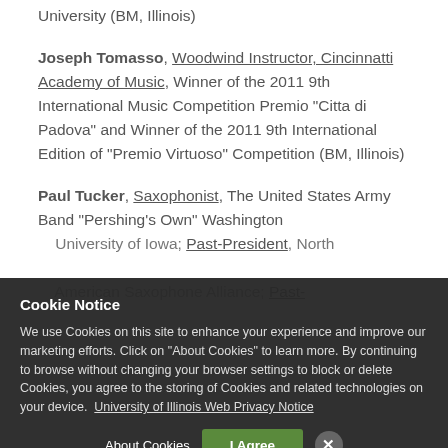University (BM, Illinois)
Joseph Tomasso, Woodwind Instructor, Cincinnatti Academy of Music, Winner of the 2011 9th International Music Competition Premio "Citta di Padova" and Winner of the 2011 9th International Edition of "Premio Virtuoso" Competition (BM, Illinois)
Paul Tucker, Saxophonist, The United States Army Band "Pershing's Own" Washington
University of Iowa; Past-President, North American Saxophone Alliance; Past-President,
Cookie Notice
We use Cookies on this site to enhance your experience and improve our marketing efforts. Click on "About Cookies" to learn more. By continuing to browse without changing your browser settings to block or delete Cookies, you agree to the storing of Cookies and related technologies on your device. University of Illinois Web Privacy Notice